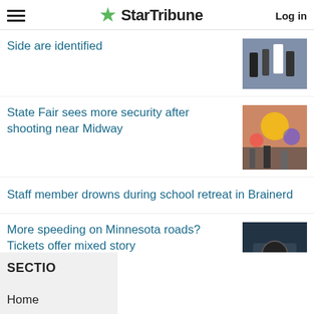StarTribune | Log in
Side are identified
State Fair sees more security after shooting near Midway
Staff member drowns during school retreat in Brainerd
More speeding on Minnesota roads? Tickets offer mixed story
SECTIONS
Home